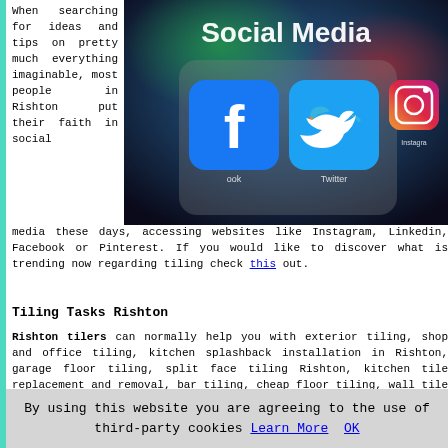When searching for ideas and tips on pretty much everything imaginable, most people in Rishton put their faith in social media these days, accessing websites like Instagram, Linkedin, Facebook or Pinterest. If you would like to discover what is trending now regarding tiling check this out.
[Figure (photo): Photo of a smartphone showing social media app icons including Facebook, Twitter, and Instagram, with 'Social Media' text overlay]
Tiling Tasks Rishton
Rishton tilers can normally help you with exterior tiling, shop and office tiling, kitchen splashback installation in Rishton, garage floor tiling, split face tiling Rishton, kitchen tile replacement and removal, bar tiling, cheap floor tiling, wall tile repairs Rishton, large format
By using this website you are agreeing to the use of third-party cookies Learn More OK